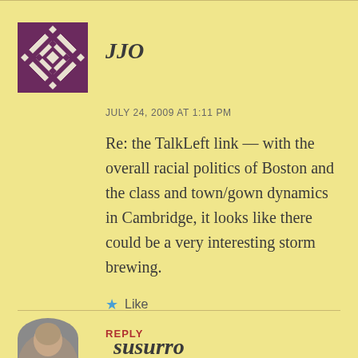[Figure (illustration): Geometric diamond/quilt pattern avatar in purple and white for user JJO]
JJO
JULY 24, 2009 AT 1:11 PM
Re: the TalkLeft link — with the overall racial politics of Boston and the class and town/gown dynamics in Cambridge, it looks like there could be a very interesting storm brewing.
Like
REPLY
[Figure (photo): Partial photo of person's head for user susurro]
susurro